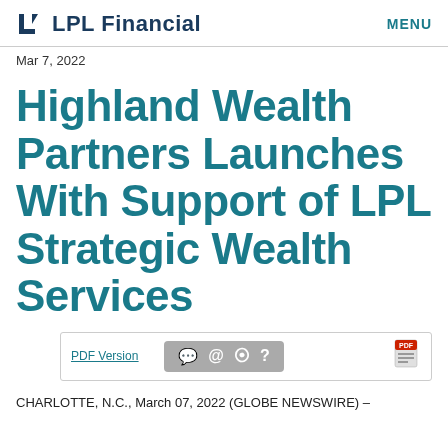LPL Financial   MENU
Mar 7, 2022
Highland Wealth Partners Launches With Support of LPL Strategic Wealth Services
PDF Version  💬 @ )) ?
CHARLOTTE, N.C., March 07, 2022 (GLOBE NEWSWIRE) –